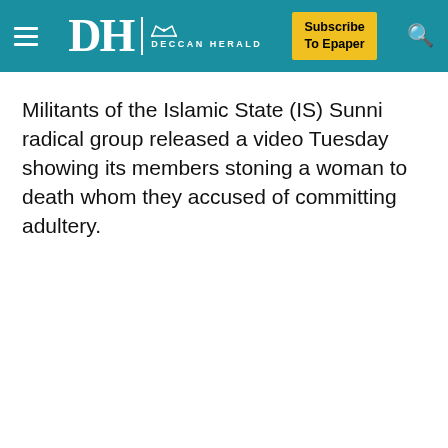Deccan Herald — Subscribe To Epaper
Militants of the Islamic State (IS) Sunni radical group released a video Tuesday showing its members stoning a woman to death whom they accused of committing adultery.